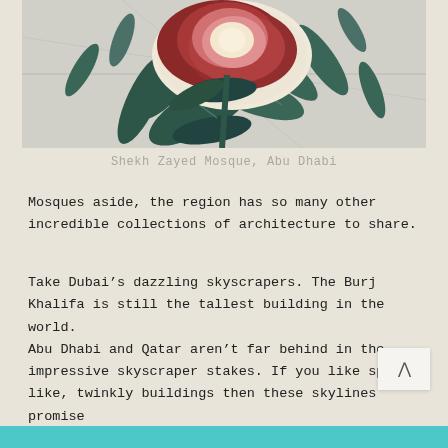[Figure (photo): Close-up photo of floral mosaic or inlay on light stone floor tiles at Sheikh Zayed Mosque, Abu Dhabi. Features a large red/crimson peony flower with dark teal-green leaves on a pale marble surface.]
Shekh Zayed Mosque, Abu Dhabi
Mosques aside, the region has so many other incredible collections of architecture to share.
Take Dubai’s dazzling skyscrapers. The Burj Khalifa is still the tallest building in the world. Abu Dhabi and Qatar aren’t far behind in the impressive skyscraper stakes. If you like space-like, twinkly buildings then these skylines promise to amaze.